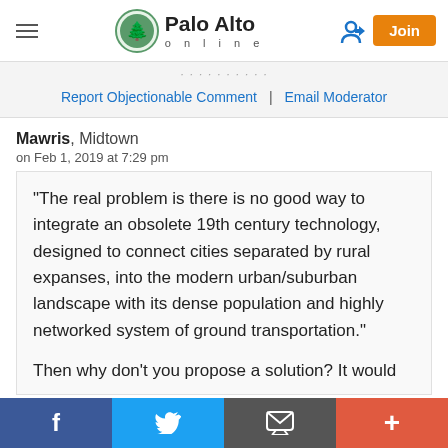Palo Alto online
Report Objectionable Comment | Email Moderator
Mawris, Midtown
on Feb 1, 2019 at 7:29 pm
"The real problem is there is no good way to integrate an obsolete 19th century technology, designed to connect cities separated by rural expanses, into the modern urban/suburban landscape with its dense population and highly networked system of ground transportation."
Then why don't you propose a solution? It would
Facebook | Twitter | Email | +